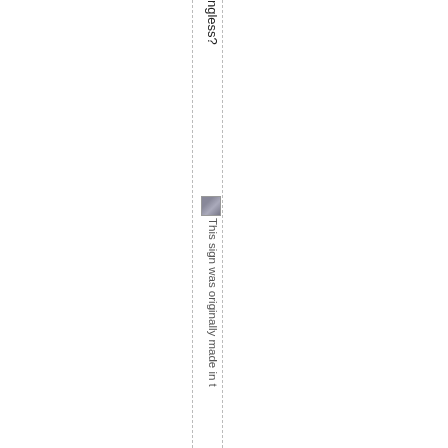ngless?
[Figure (photo): Small thumbnail image]
This sign was originally made in t